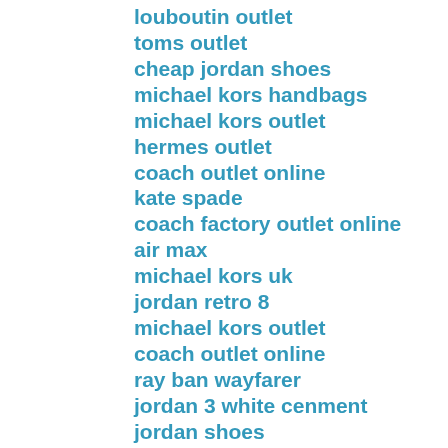louboutin outlet
toms outlet
cheap jordan shoes
michael kors handbags
michael kors outlet
hermes outlet
coach outlet online
kate spade
coach factory outlet online
air max
michael kors uk
jordan retro 8
michael kors outlet
coach outlet online
ray ban wayfarer
jordan 3 white cenment
jordan shoes
burberry outlet
ugg outlet
burberry outlet online
longchamp pas cher
nike blazer